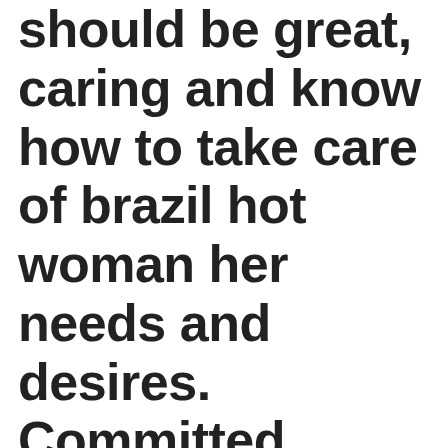should be great, caring and know how to take care of brazil hot woman her needs and desires. Committed women internet dating may sound like a strange idea, but it is